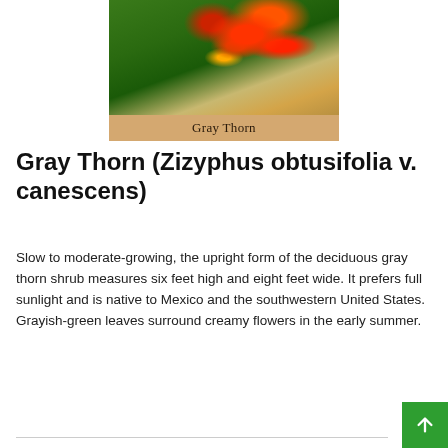[Figure (photo): Photo of Gray Thorn plant with red and orange flowers on green foliage, with a tan/sandy ground visible. Label 'Gray Thorn' on a tan background strip beneath the photo.]
Gray Thorn (Zizyphus obtusifolia v. canescens)
Slow to moderate-growing, the upright form of the deciduous gray thorn shrub measures six feet high and eight feet wide. It prefers full sunlight and is native to Mexico and the southwestern United States. Grayish-green leaves surround creamy flowers in the early summer.